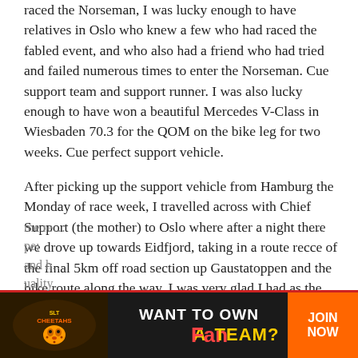raced the Norseman, I was lucky enough to have relatives in Oslo who knew a few who had raced the fabled event, and who also had a friend who had tried and failed numerous times to enter the Norseman. Cue support team and support runner. I was also lucky enough to have won a beautiful Mercedes V-Class in Wiesbaden 70.3 for the QOM on the bike leg for two weeks. Cue perfect support vehicle.
After picking up the support vehicle from Hamburg the Monday of race week, I travelled across with Chief Support (the mother) to Oslo where after a night there we drove up towards Eidfjord, taking in a route recce of the final 5km off road section up Gaustatoppen and the bike route along the way. I was very glad I had as the huge boulders, rocky steps, marshes, scree slopes and freezing wind chill was quite humbling and made
me re... ...pe; and h... ...uality.
[Figure (other): Advertisement banner: 'WANT TO OWN A FAN TEAM? JOIN NOW' with SLT Cheetahs logo on the left and orange JOIN NOW button on the right.]